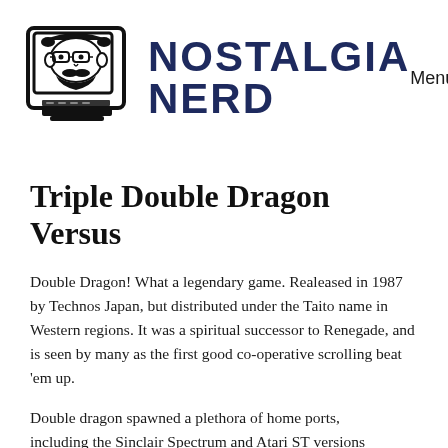[Figure (logo): Nostalgia Nerd logo: a retro CRT television with a stylized face (glasses, beard, hair) on screen, next to bold all-caps text reading NOSTALGIA NERD in dark navy blue]
Menu ≡
Triple Double Dragon Versus
Double Dragon! What a legendary game. Realeased in 1987 by Technos Japan, but distributed under the Taito name in Western regions. It was a spiritual successor to Renegade, and is seen by many as the first good co-operative scrolling beat 'em up.
Double dragon spawned a plethora of home ports, including the Sinclair Spectrum and Atari ST versions